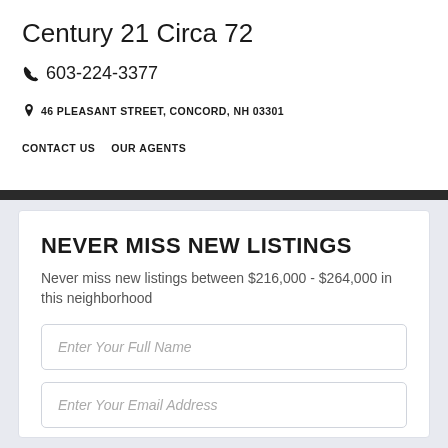Century 21 Circa 72
603-224-3377
46 PLEASANT STREET, CONCORD, NH 03301
CONTACT US  OUR AGENTS
NEVER MISS NEW LISTINGS
Never miss new listings between $216,000 - $264,000 in this neighborhood
Enter Your Full Name
Enter Your Email Address